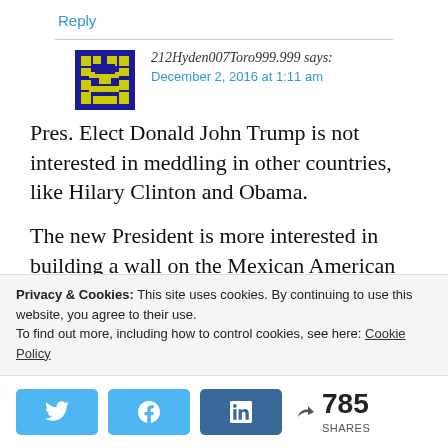Reply
212Hyden007Toro999.999 says:
December 2, 2016 at 1:11 am
Pres. Elect Donald John Trump is not interested in meddling in other countries, like Hilary Clinton and Obama.

The new President is more interested in building a wall on the Mexican American border, to keep illegal immigrants out. He
Privacy & Cookies: This site uses cookies. By continuing to use this website, you agree to their use.
To find out more, including how to control cookies, see here: Cookie Policy